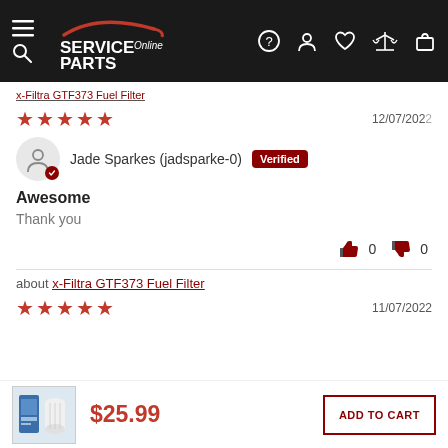[Figure (logo): ServiceParts Online logo with car silhouette on dark background header]
about x-Filtra GTF373 Fuel Filter
★★★★★  12/07/2022
Jade Sparkes (jadsparke-0) Verified
Awesome
Thank you
👍 0  👎 0
about x-Filtra GTF373 Fuel Filter
★★★★★  11/07/2022
$25.99
ADD TO CART